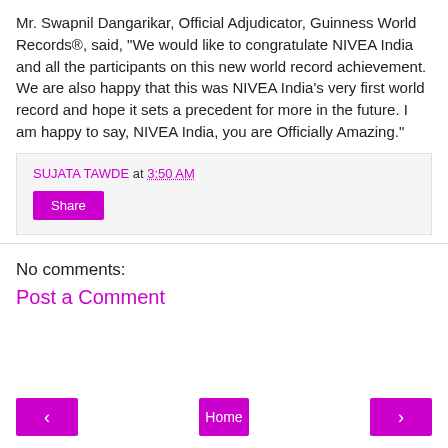Mr. Swapnil Dangarikar, Official Adjudicator, Guinness World Records®, said, "We would like to congratulate NIVEA India and all the participants on this new world record achievement. We are also happy that this was NIVEA India's very first world record and hope it sets a precedent for more in the future. I am happy to say, NIVEA India, you are Officially Amazing."
SUJATA TAWDE at 3:50 AM
Share
No comments:
Post a Comment
< Home >